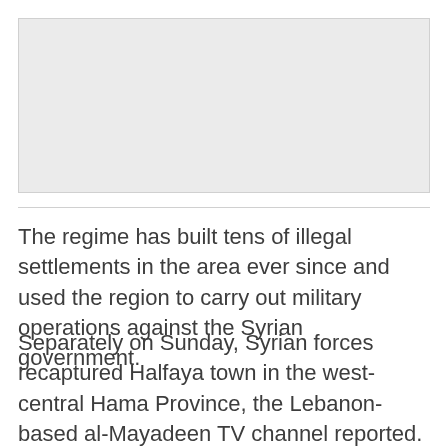[Figure (photo): Gray placeholder image at top of article]
The regime has built tens of illegal settlements in the area ever since and used the region to carry out military operations against the Syrian government.
Separately on Sunday, Syrian forces recaptured Halfaya town in the west-central Hama Province, the Lebanon-based al-Mayadeen TV channel reported.